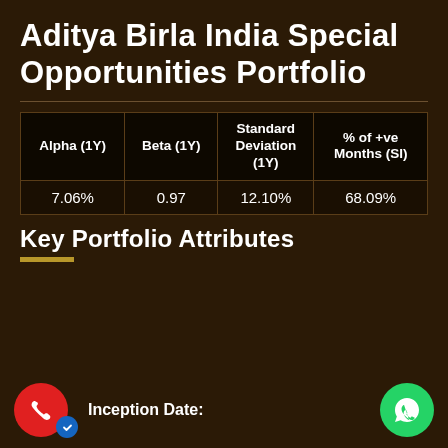Aditya Birla India Special Opportunities Portfolio
| Alpha (1Y) | Beta (1Y) | Standard Deviation (1Y) | % of +ve Months (SI) |
| --- | --- | --- | --- |
| 7.06% | 0.97 | 12.10% | 68.09% |
Key Portfolio Attributes
Inception Date: